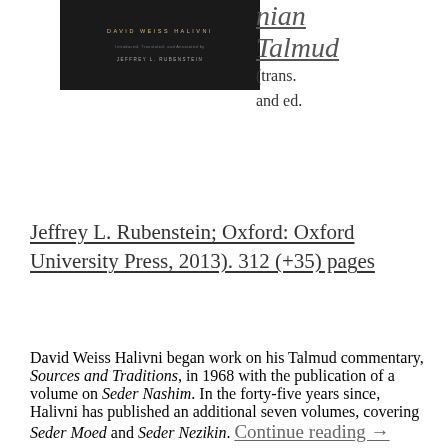[Figure (photo): Book cover image with dark/black background showing 'DAVID WEISS HALIVNI' in gold lettering at top, with subtitle and editor 'JEFFREY L. RUBENSTEIN' in smaller text below]
nian Talmud (trans. and ed. Jeffrey L. Rubenstein; Oxford: Oxford University Press, 2013). 312 (+35) pages
David Weiss Halivni began work on his Talmud commentary, Sources and Traditions, in 1968 with the publication of a volume on Seder Nashim. In the forty-five years since, Halivni has published an additional seven volumes, covering Seder Moed and Seder Nezikin. Continue reading →